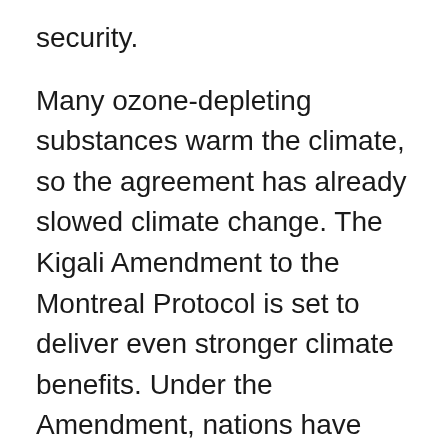security.
Many ozone-depleting substances warm the climate, so the agreement has already slowed climate change. The Kigali Amendment to the Montreal Protocol is set to deliver even stronger climate benefits. Under the Amendment, nations have committed to phase down hydrofluorocarbons (HFCs). While HFCs don't damage the ozone layer, these coolants are powerful greenhouse gases. Reducing their use, as agreed, is expected to avoid up to 0.4°C of global temperature rise by the end of the century, while continuing to protect the ozone layer.